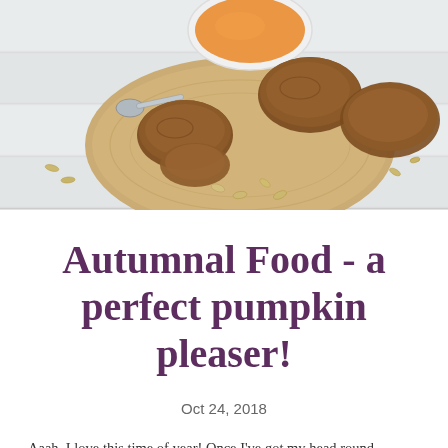[Figure (photo): Food photo showing a wooden cutting board with rustic bread rolls, pumpkin seeds scattered around, a white bowl of pumpkin soup in the background, and a small metal spoon, all on a white wooden surface.]
Autumnal Food - a perfect pumpkin pleaser!
Oct 24, 2018
Aaah. I love this time of year! Once I've got my head round...